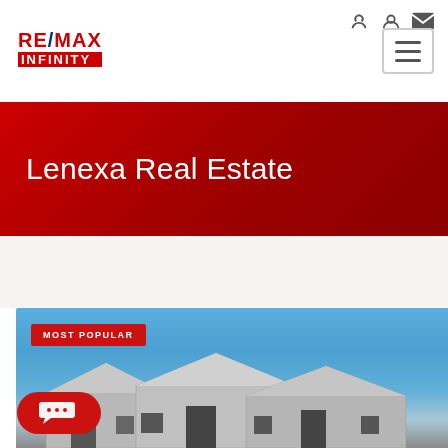[Figure (logo): RE/MAX INFINITY logo in red and blue]
Lenexa Real Estate
MOST POPULAR
[Figure (photo): Photo of suburban houses with blue sky, showing rooflines and facades]